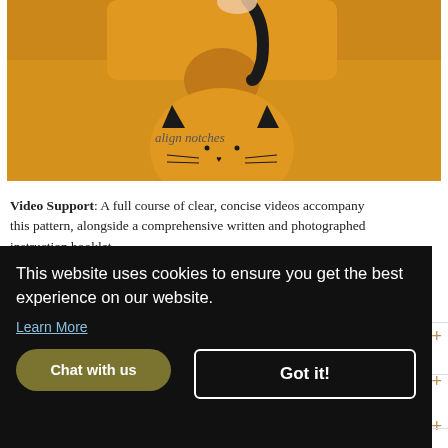[Figure (photo): Photo of orange felt cat face pieces being assembled. Shows two orange felt pieces: a body piece at top with a semicircular notch, and a cat face piece below. The cat face has dark triangular ears, drawn-on whiskers, and a small heart nose. Text overlay reads 'align notches'. A finger is visible at top holding the fabric.]
Video Support: A full course of clear, concise videos accompany this pattern, alongside a comprehensive written and photographed instruction booklet.
This website uses cookies to ensure you get the best experience on our website.
Learn More
Got it!
Chat with us